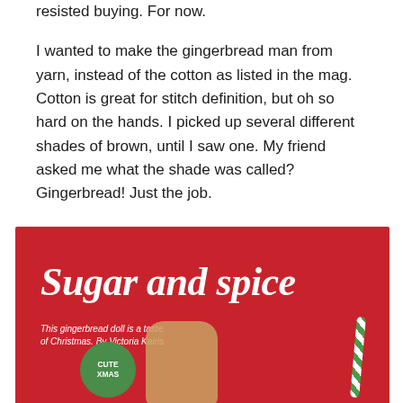resisted buying. For now.
I wanted to make the gingerbread man from yarn, instead of the cotton as listed in the mag. Cotton is great for stitch definition, but oh so hard on the hands. I picked up several different shades of brown, until I saw one. My friend asked me what the shade was called? Gingerbread! Just the job.
[Figure (illustration): Red background promotional image with large italic white text reading 'Sugar and spice', subtitle 'This gingerbread doll is a taste of Christmas. By Victoria Kairis', a green circular badge with 'CUTE XMAS' text, a gingerbread figure, and a candy-striped straw.]